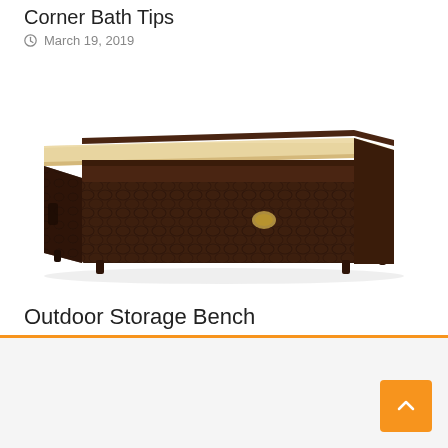Corner Bath Tips
March 19, 2019
[Figure (photo): A dark brown wicker/rattan outdoor storage bench with a beige cushion on top, photographed on a white background.]
Outdoor Storage Bench
March 19, 2019